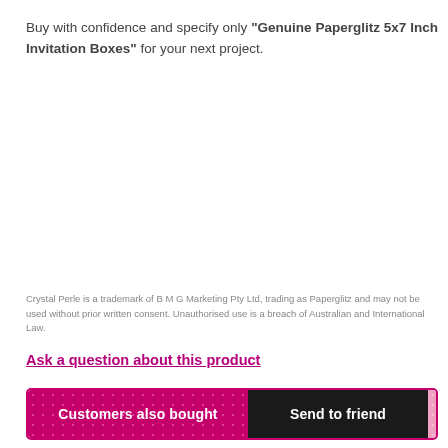Buy with confidence and specify only "Genuine Paperglitz 5x7 Inch Invitation Boxes" for your next project.
Crystal Perle is a trademark of B M G Marketing Pty Ltd, trading as Paperglitz and may not be used without prior written consent. Unauthorised use is a breach of Australian and International Law.
Ask a question about this product
[Figure (other): Tab bar with three sections: 'Customers also bought' in dark pink/magenta with diamond pattern, 'Send to friend' in black, and a plain pink section with diamond pattern]